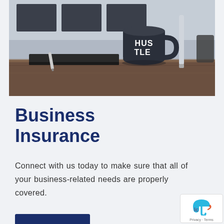[Figure (photo): A dark mug with 'HUSTLE' written on it in white text, sitting on a wooden desk with a pen and tablet/laptop in the background. Black and white/muted gray-blue tone photograph.]
Business Insurance
Connect with us today to make sure that all of your business-related needs are properly covered.
[Figure (logo): Insurance company logo with blue umbrella icon and 'lc' letters, with 'Privacy - Terms' text below]